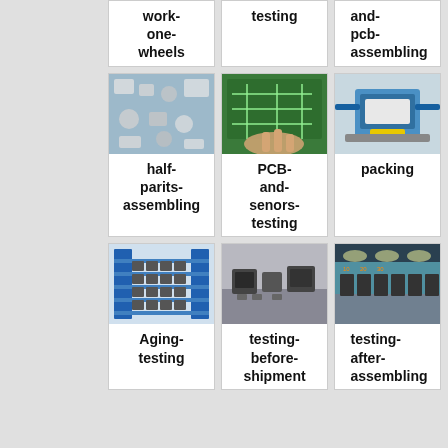[Figure (photo): Card showing text: work-one-wheels (partial top row)]
[Figure (photo): Card showing text: testing (partial top row)]
[Figure (photo): Card showing text: and-pcb-assembling (partial top row)]
[Figure (photo): Photo of small metal parts/components - half-parits-assembling]
[Figure (photo): Photo of PCB board being worked on - PCB-and-senors-testing]
[Figure (photo): Photo of industrial packing machine - packing]
[Figure (photo): Photo of aging rack with battery units - Aging-testing]
[Figure (photo): Photo of test equipment on bench - testing-before-shipment]
[Figure (photo): Photo of factory floor with assembled units - testing-after-assembling]